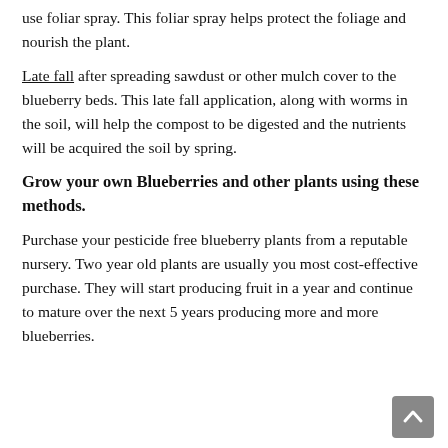use foliar spray. This foliar spray helps protect the foliage and nourish the plant.
Late fall after spreading sawdust or other mulch cover to the blueberry beds. This late fall application, along with worms in the soil, will help the compost to be digested and the nutrients will be acquired the soil by spring.
Grow your own Blueberries and other plants using these methods.
Purchase your pesticide free blueberry plants from a reputable nursery. Two year old plants are usually you most cost-effective purchase. They will start producing fruit in a year and continue to mature over the next 5 years producing more and more blueberries.